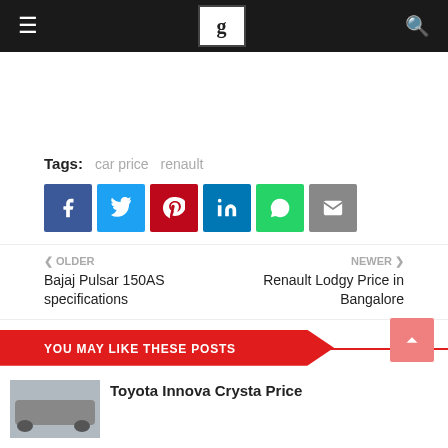Navigation bar with hamburger menu, logo, and search icon
Tags: car price  renault
[Figure (infographic): Social share buttons: Facebook, Twitter, Pinterest, LinkedIn, WhatsApp, Email]
OLDER
Bajaj Pulsar 150AS specifications
NEWER
Renault Lodgy Price in Bangalore
YOU MAY LIKE THESE POSTS
Toyota Innova Crysta Price